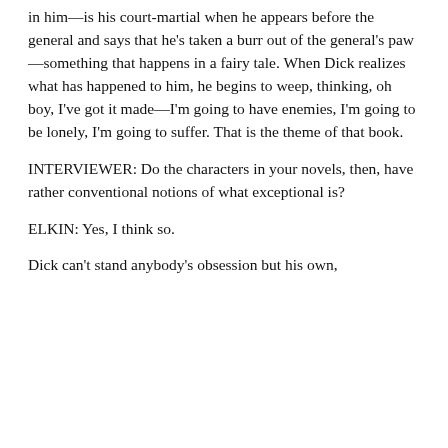in him—is his court-martial when he appears before the general and says that he's taken a burr out of the general's paw—something that happens in a fairy tale. When Dick realizes what has happened to him, he begins to weep, thinking, oh boy, I've got it made—I'm going to have enemies, I'm going to be lonely, I'm going to suffer. That is the theme of that book.
INTERVIEWER: Do the characters in your novels, then, have rather conventional notions of what exceptional is?
ELKIN: Yes, I think so.
Dick can't stand anybody's obsession but his own,